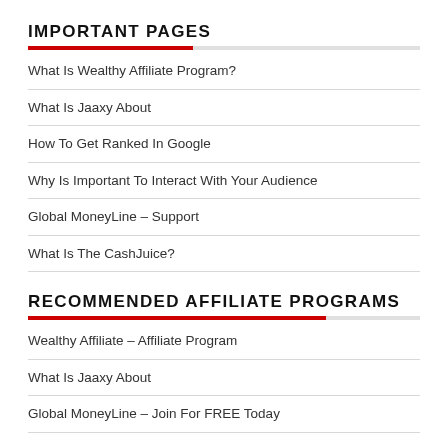IMPORTANT PAGES
What Is Wealthy Affiliate Program?
What Is Jaaxy About
How To Get Ranked In Google
Why Is Important To Interact With Your Audience
Global MoneyLine – Support
What Is The CashJuice?
RECOMMENDED AFFILIATE PROGRAMS
Wealthy Affiliate – Affiliate Program
What Is Jaaxy About
Global MoneyLine – Join For FREE Today